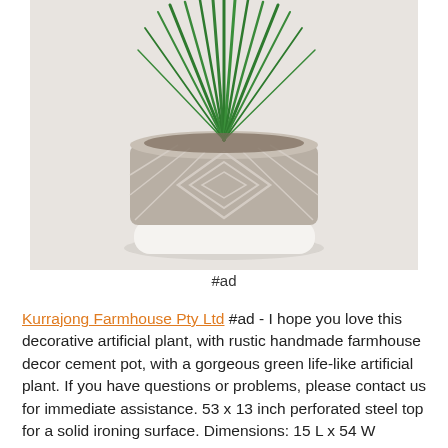[Figure (photo): A decorative artificial plant with green spiky leaves in a rustic cement pot with geometric diamond pattern and white base, on a light background.]
#ad
Kurrajong Farmhouse Pty Ltd #ad - I hope you love this decorative artificial plant, with rustic handmade farmhouse decor cement pot, with a gorgeous green life-like artificial plant. If you have questions or problems, please contact us for immediate assistance. 53 x 13 inch perforated steel top for a solid ironing surface. Dimensions: 15 L x 54 W